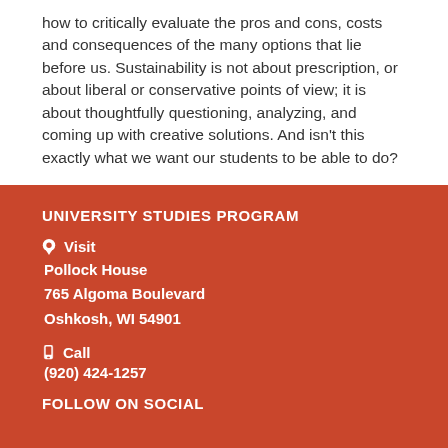how to critically evaluate the pros and cons, costs and consequences of the many options that lie before us. Sustainability is not about prescription, or about liberal or conservative points of view; it is about thoughtfully questioning, analyzing, and coming up with creative solutions. And isn't this exactly what we want our students to be able to do?
UNIVERSITY STUDIES PROGRAM
Visit
Pollock House
765 Algoma Boulevard
Oshkosh, WI 54901
Call
(920) 424-1257
FOLLOW ON SOCIAL